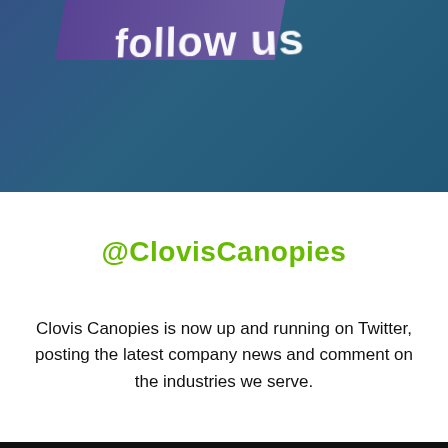[Figure (photo): A blue-toned photo background with text 'follow us' in white bold font, partially cropped, with purple gradient overlay elements]
@ClovisCanopies
Clovis Canopies is now up and running on Twitter, posting the latest company news and comment on the industries we serve.